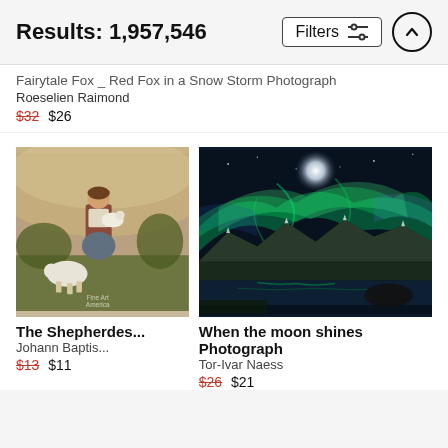Results: 1,957,546 | Filters
Fairytale Fox _ Red Fox in a Snow Storm Photograph
Roeselien Raimond
$32 $26
[Figure (photo): Painting of a shepherdess holding a lamb with a sheep beside her in a lush outdoor setting. Fine Art America watermark visible.]
The Shepherdes...
Johann Baptis...
$13 $11
[Figure (photo): Photograph of the aurora borealis (northern lights) shining green over snow-capped mountains reflected in water at night.]
When the moon shines Photograph
Tor-Ivar Naess
$26 $21